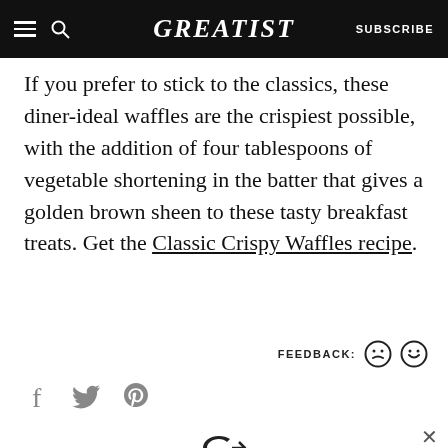GREATIST | SUBSCRIBE
If you prefer to stick to the classics, these diner-ideal waffles are the crispiest possible, with the addition of four tablespoons of vegetable shortening in the batter that gives a golden brown sheen to these tasty breakfast treats. Get the Classic Crispy Waffles recipe.
[Figure (other): Feedback icons: sad face and happy face with label FEEDBACK:]
[Figure (other): Social share icons: Facebook, Twitter, Pinterest]
[Figure (other): Divider line with Greatist G arrow logo in center]
[Figure (other): Advertisement: State Farm banner ad in red with logo and three oval shapes]